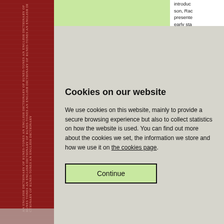[Figure (illustration): Red spine/binding strip with runic or decorative text running vertically, light pink text on dark red background, book spine style]
[Figure (illustration): Green content area showing background page content (article/encyclopedia page with light green background)]
introduced son, Ragnar presented early stages saga's a himself a centre of Denmark the saga Ragnarr England and the by his so It is likely character loðbrok combination different personality them Re leader of attack on and the shadowy name c attached /oðbrók, Reginhe McTurk for a co
Cookies on our website
We use cookies on this website, mainly to provide a secure browsing experience but also to collect statistics on how the website is used. You can find out more about the cookies we set, the information we store and how we use it on the cookies page.
Continue